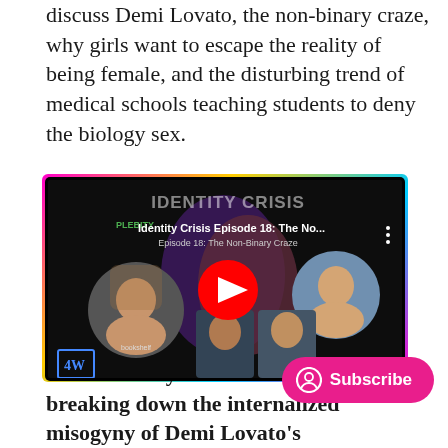discuss Demi Lovato, the non-binary craze, why girls want to escape the reality of being female, and the disturbing trend of medical schools teaching students to deny the biology sex.
[Figure (screenshot): YouTube video thumbnail for 'Identity Crisis Episode 18: The No...' subtitle 'Episode 18: The Non-Binary Craze' by PLEBITY channel, showing four women in circular/rectangular frames against a dark background with silhouette graphic, IDENTITY CRISIS title text, 4W and PLEBITY logos, and a red YouTube play button in the center.]
[Figure (other): Pink Subscribe button with user/person icon]
Check out my new article in Quillette breaking down the internalized misogyny of Demi Lovato's